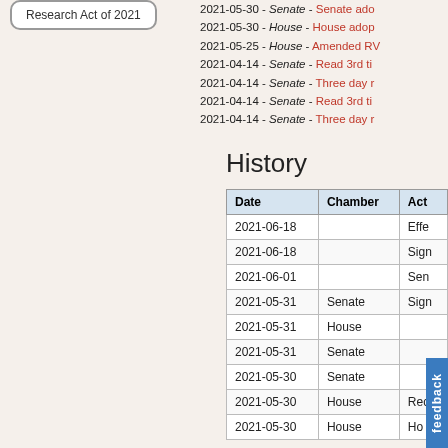Research Act of 2021
2021-05-30 - Senate - Senate ado...
2021-05-30 - House - House adop...
2021-05-25 - House - Amended RV...
2021-04-14 - Senate - Read 3rd ti...
2021-04-14 - Senate - Three day r...
2021-04-14 - Senate - Read 3rd ti...
2021-04-14 - Senate - Three day r...
History
| Date | Chamber | Act |
| --- | --- | --- |
| 2021-06-18 |  | Effe... |
| 2021-06-18 |  | Sign... |
| 2021-06-01 |  | Sen... |
| 2021-05-31 | Senate | Sign... |
| 2021-05-31 | House |  |
| 2021-05-31 | Senate |  |
| 2021-05-30 | Senate |  |
| 2021-05-30 | House | Rec... |
| 2021-05-30 | House | Ho... |